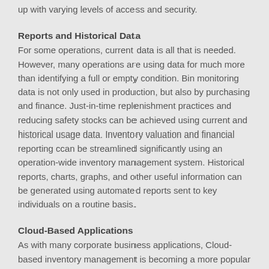up with varying levels of access and security.
Reports and Historical Data
For some operations, current data is all that is needed. However, many operations are using data for much more than identifying a full or empty condition. Bin monitoring data is not only used in production, but also by purchasing and finance. Just-in-time replenishment practices and reducing safety stocks can be achieved using current and historical usage data. Inventory valuation and financial reporting ccan be streamlined significantly using an operation-wide inventory management system. Historical reports, charts, graphs, and other useful information can be generated using automated reports sent to key individuals on a routine basis.
Cloud-Based Applications
As with many corporate business applications, Cloud-based inventory management is becoming a more popular option for grain and milling operations. Users today need anytime,